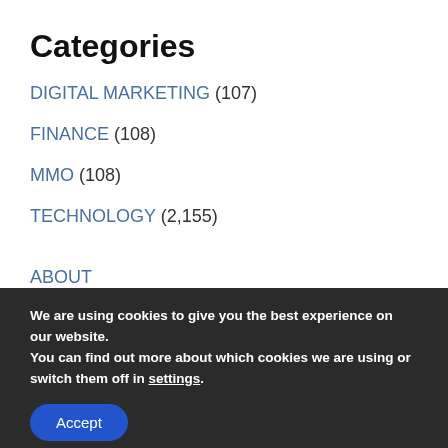Categories
DIGITAL MARKETING (107)
FINANCE (108)
MMO (108)
TECHNOLOGY (2,155)
ABOUT
CONTACT
We are using cookies to give you the best experience on our website.
You can find out more about which cookies we are using or switch them off in settings.
Accept